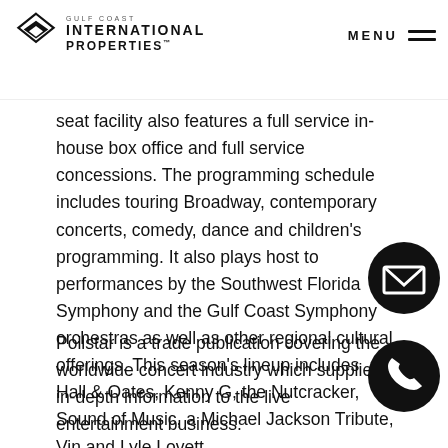Gulf Coast International Properties — MENU
seat facility also features a full service in-house box office and full service concessions. The programming schedule includes touring Broadway, contemporary concerts, comedy, dance and children's programming. It also plays host to performances by the Southwest Florida Symphony and the Gulf Coast Symphony orchestras as well as other regional cultural offerings. This season's lineup includes Hall & Oates, Kenny G, the Nutcracker, Sound of Music, a Michael Jackson Tribute, Vince Gill and Lyle Lovett.
Pollstar is a trade publication covering the worldwide concert industry which supplies in-depth information to the live entertainment business.
[Figure (illustration): Email contact button - black circular icon with envelope symbol]
[Figure (illustration): Phone contact button - black circular icon with phone symbol]